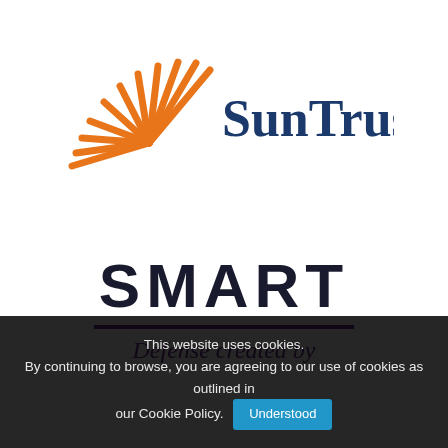[Figure (logo): SunTrust bank logo: orange sun ray graphic on the left, dark navy blue text 'SunTrust' in serif font on the right]
SMART
Defense created by
This website uses cookies. By continuing to browse, you are agreeing to our use of cookies as outlined in our Cookie Policy. Understood